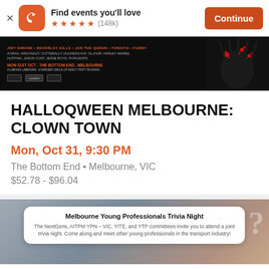[Figure (screenshot): Eventbrite app banner with logo, 'Find events you'll love' tagline, 5-star rating (148k reviews), and Continue button]
[Figure (photo): Dark Halloween event banner with red accents, artist names, venue details for Halloqween Melbourne Clown Town on Mon 31st Oct at The Bottom End Melbourne]
HALLOQWEEN MELBOURNE: CLOWN TOWN
Mon, Oct 31, 9:30 PM
The Bottom End • Melbourne, VIC
$52.78 - $96.04
[Figure (screenshot): Melbourne Young Professionals Trivia Night event card with description about NextGens, AITPM YPN - VIC, YITE, and YTP committees inviting to a joint trivia night]
Melbourne Young Professionals Trivia Night
The NextGens, AITPM YPN – VIC, YITE, and YTP committees invite you to attend a joint trivia night. Come along and meet other young professionals in the transport industry!